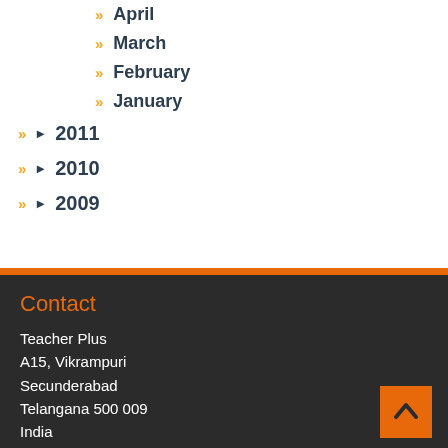April
March
February
January
2011
2010
2009
Contact
Teacher Plus
A15, Vikrampuri
Secunderabad
Telangana 500 009
India